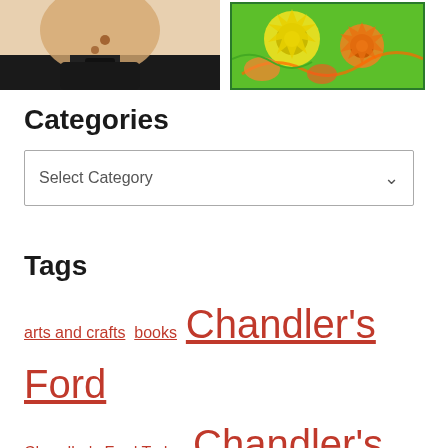[Figure (photo): Partial view of a shirtless person with tattoos on their side, wearing a white cap, cropped at the left side of the image]
[Figure (illustration): Colorful illustration with gears, hands, and abstract shapes in green, yellow, orange, and red tones, bordered by a green frame]
Categories
Select Category
Tags
arts and crafts  books  Chandler's Ford  Chandler's Ford Today  Chandler's Ford  community  charity  Christianity  Christmas  church